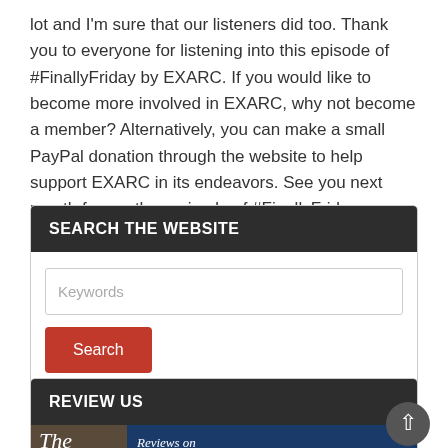lot and I'm sure that our listeners did too. Thank you to everyone for listening into this episode of #FinallyFriday by EXARC. If you would like to become more involved in EXARC, why not become a member? Alternatively, you can make a small PayPal donation through the website to help support EXARC in its endeavors. See you next month for another episode of #FinallyFriday.
SEARCH THE WEBSITE
[Figure (screenshot): Search widget with a keyword input field and a red Search button]
REVIEW US
[Figure (screenshot): Review us widget showing partial image with 'The' in italic serif font on dark brown background and 'Reviews on' text on dark blue background]